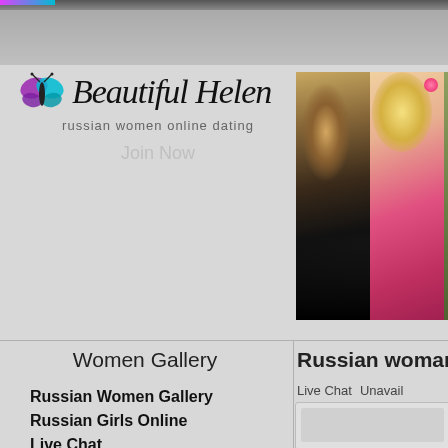[Figure (screenshot): Top navigation bar with dark gradient and colorful strip on left]
[Figure (logo): Beautiful Helen logo with butterfly icon, script font title, subtitle 'russian women online dating', and 'Join Now' button]
[Figure (photo): Photo strip showing two women: one in black dress viewed from back, one blonde in pink/red top]
Women Gallery
Russian Women Gallery
Russian Girls Online
Live Chat
Russian Girls Video
New Profiles
Search
Information
Russian woman Natali
Live Chat
Unavail